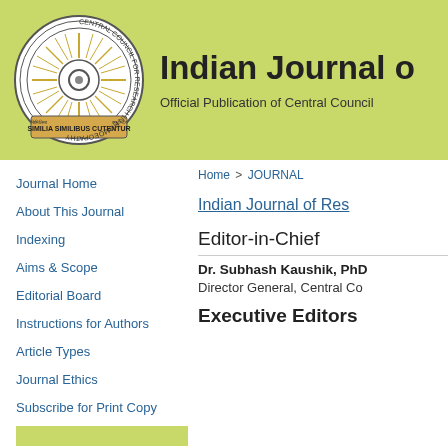[Figure (logo): Central Council for Research in Homoeopathy circular logo with sun rays and motto SIMILIA SIMILIBUS CUTENTUR]
Indian Journal of Research in Homoeopathy (partial, cropped)
Official Publication of Central Council (partial, cropped)
Home > JOURNAL
Journal Home
About This Journal
Indexing
Aims & Scope
Editorial Board
Instructions for Authors
Article Types
Journal Ethics
Subscribe for Print Copy
Indian Journal of Research (partial, cropped)
Editor-in-Chief
Dr. Subhash Kaushik, PhD
Director General, Central Co... (partial, cropped)
Executive Editors